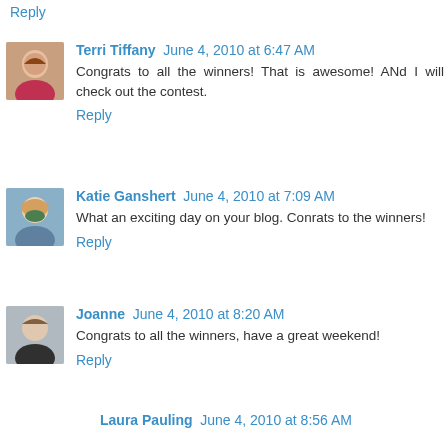Reply
Terri Tiffany June 4, 2010 at 6:47 AM
Congrats to all the winners! That is awesome! ANd I will check out the contest.
Reply
Katie Ganshert June 4, 2010 at 7:09 AM
What an exciting day on your blog. Conrats to the winners!
Reply
Joanne June 4, 2010 at 8:20 AM
Congrats to all the winners, have a great weekend!
Reply
Laura Pauling June 4, 2010 at 8:56 AM